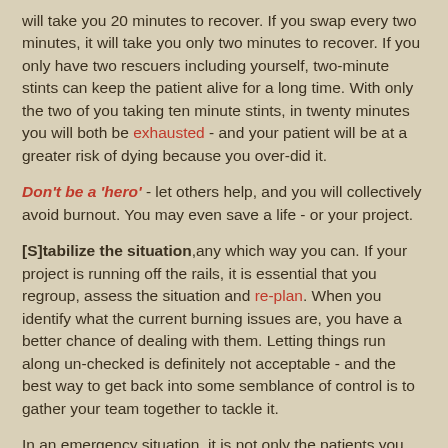will take you 20 minutes to recover. If you swap every two minutes, it will take you only two minutes to recover. If you only have two rescuers including yourself, two-minute stints can keep the patient alive for a long time. With only the two of you taking ten minute stints, in twenty minutes you will both be exhausted - and your patient will be at a greater risk of dying because you over-did it.
Don't be a 'hero' - let others help, and you will collectively avoid burnout. You may even save a life - or your project.
[S]tabilize the situation,any which way you can. If your project is running off the rails, it is essential that you regroup, assess the situation and re-plan. When you identify what the current burning issues are, you have a better chance of dealing with them. Letting things run along un-checked is definitely not acceptable - and the best way to get back into some semblance of control is to gather your team together to tackle it.
In an emergency situation, it is not only the patients you need to stabilize - it is the whole situation and all the people in it. If you have other [health] members, you are responsible